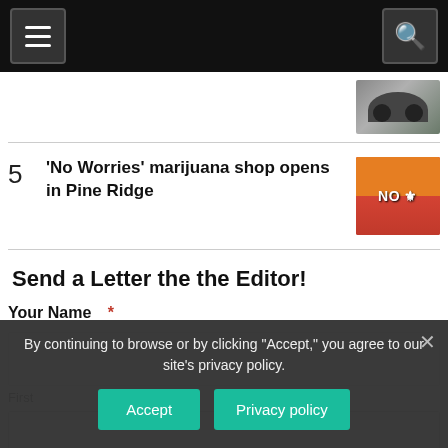Navigation bar with hamburger menu and search icon
[Figure (photo): Partial thumbnail of a motorcycle image at top right]
5  'No Worries' marijuana shop opens in Pine Ridge
Send a Letter the the Editor!
Your Name  *
First
Last
By continuing to browse or by clicking "Accept," you agree to our site's privacy policy.
Accept    Privacy policy